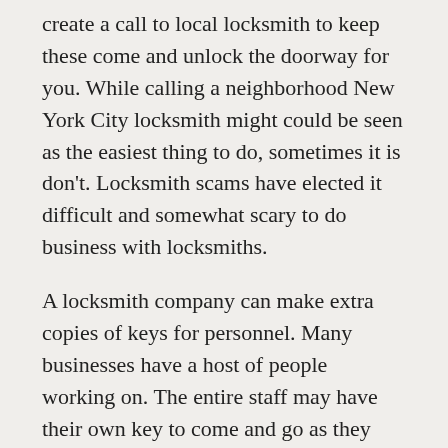create a call to local locksmith to keep these come and unlock the doorway for you. While calling a neighborhood New York City locksmith might could be seen as the easiest thing to do, sometimes it is don't. Locksmith scams have elected it difficult and somewhat scary to do business with locksmiths.
A locksmith company can make extra copies of keys for personnel. Many businesses have a host of people working on. The entire staff may have their own key to come and go as they please. Property companies often give their Realtors office keys so, that they could do their work at odd minutes. A locksmith services company is always eager that may with having the keys made, and it can be done for an appealing price. Staff that needs to come and go is a vital part of businesses today. They won't always want the customers and clients coming in